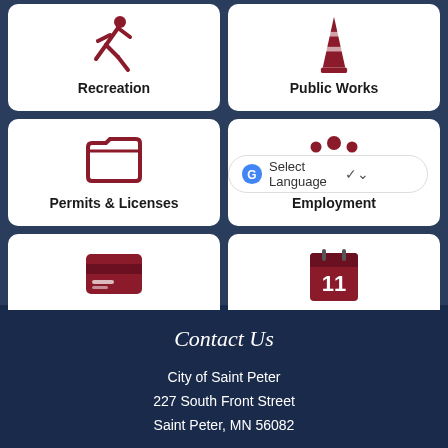[Figure (infographic): Grid of six service tiles: Recreation (running person icon), Public Works (traffic cone icon), Permits & Licenses (folder icon), Employment (group of people icon), View or Pay Bills (credit card icon), Meetings & Minutes (calendar icon with 11)]
[Figure (screenshot): Google Translate Select Language dropdown overlay on top of Public Works tile]
Contact Us
City of Saint Peter
227 South Front Street
Saint Peter, MN 56082